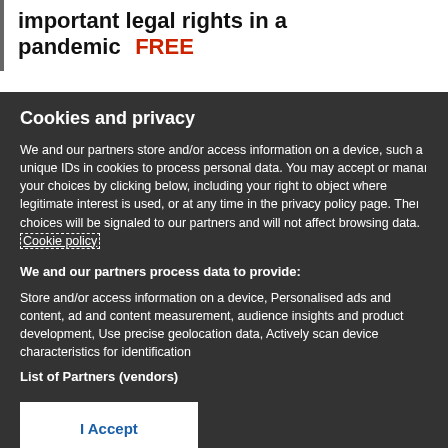important legal rights in a pandemic   FREE
Cookies and privacy
We and our partners store and/or access information on a device, such as unique IDs in cookies to process personal data. You may accept or manage your choices by clicking below, including your right to object where legitimate interest is used, or at any time in the privacy policy page. These choices will be signaled to our partners and will not affect browsing data. Cookie policy
We and our partners process data to provide:
Store and/or access information on a device, Personalised ads and content, ad and content measurement, audience insights and product development, Use precise geolocation data, Actively scan device characteristics for identification
List of Partners (vendors)
I Accept